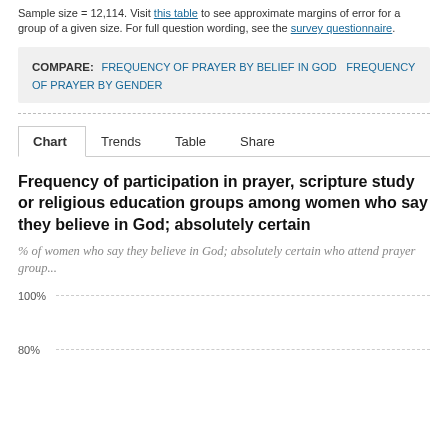Sample size = 12,114. Visit this table to see approximate margins of error for a group of a given size. For full question wording, see the survey questionnaire.
COMPARE: FREQUENCY OF PRAYER BY BELIEF IN GOD  FREQUENCY OF PRAYER BY GENDER
Frequency of participation in prayer, scripture study or religious education groups among women who say they believe in God; absolutely certain
% of women who say they believe in God; absolutely certain who attend prayer group...
[Figure (continuous-plot): Partial y-axis showing 100% and 80% gridlines with dashed lines extending across the chart area. No bars or data points visible yet — chart is cut off at the bottom of the page.]